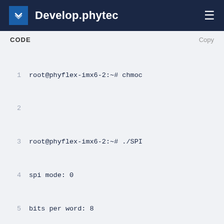Develop.phytec
CODE
Copy
1  root@phyflex-imx6-2:~# chmod
2
3  root@phyflex-imx6-2:~# ./SPI
4  spi mode: 0
5  bits per word: 8
6  max speed: 500000 Hz (500 KH
7
8  FF FF FF FF FF FF
9  40 00 00 00 00 95
10 FF FF FF FF FF FF
11 FF FF FF FF FF FF
12 FF FF FF FF FF FF
13 DE AD BE EF BA AD
14 F0 0D
15